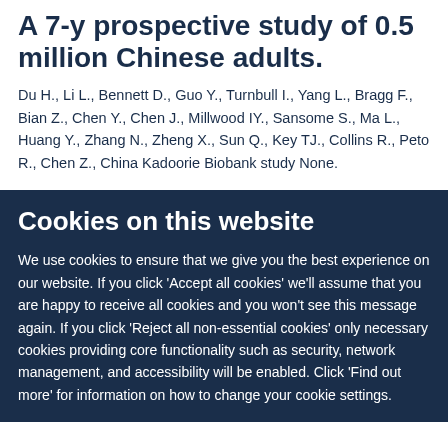A 7-y prospective study of 0.5 million Chinese adults.
Du H., Li L., Bennett D., Guo Y., Turnbull I., Yang L., Bragg F., Bian Z., Chen Y., Chen J., Millwood IY., Sansome S., Ma L., Huang Y., Zhang N., Zheng X., Sun Q., Key TJ., Collins R., Peto R., Chen Z., China Kadoorie Biobank study None.
Cookies on this website
We use cookies to ensure that we give you the best experience on our website. If you click 'Accept all cookies' we'll assume that you are happy to receive all cookies and you won't see this message again. If you click 'Reject all non-essential cookies' only necessary cookies providing core functionality such as security, network management, and accessibility will be enabled. Click 'Find out more' for information on how to change your cookie settings.